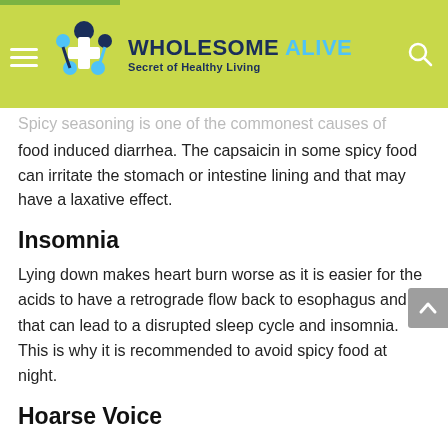WHOLESOME ALIVE — Secret of Healthy Living
Spicy seasoning is one of the commonest causes of food induced diarrhea. The capsaicin in some spicy food can irritate the stomach or intestine lining and that may have a laxative effect.
Insomnia
Lying down makes heart burn worse as it is easier for the acids to have a retrograde flow back to esophagus and that can lead to a disrupted sleep cycle and insomnia. This is why it is recommended to avoid spicy food at night.
Hoarse Voice